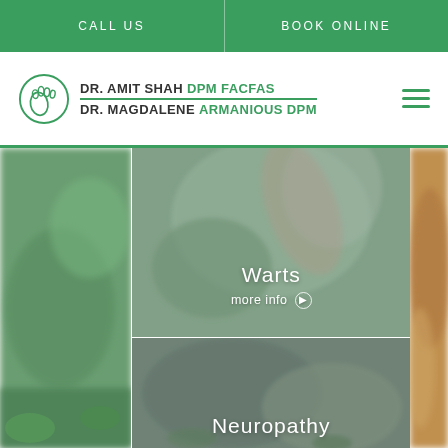CALL US | BOOK ONLINE
[Figure (logo): Medical practice logo with foot icon. DR. AMIT SHAH DPM FACFAS / DR. MAGDALENE ARMANIOUS DPM]
[Figure (photo): Three-panel image grid showing blurred outdoor/foot photography. Center top panel: Warts with more info button. Center bottom panel: Neuropathy. Left and right panels are blurred background photos.]